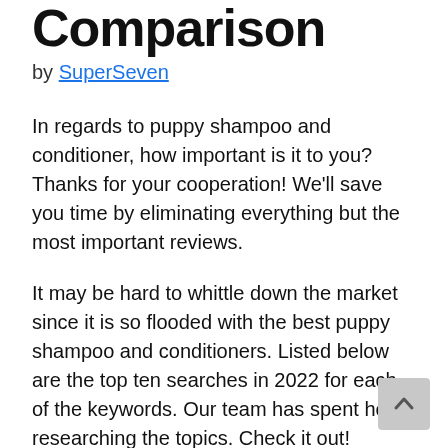Comparison
by SuperSeven
In regards to puppy shampoo and conditioner, how important is it to you? Thanks for your cooperation! We'll save you time by eliminating everything but the most important reviews.
It may be hard to whittle down the market since it is so flooded with the best puppy shampoo and conditioners. Listed below are the top ten searches in 2022 for each of the keywords. Our team has spent hours researching the topics. Check it out!